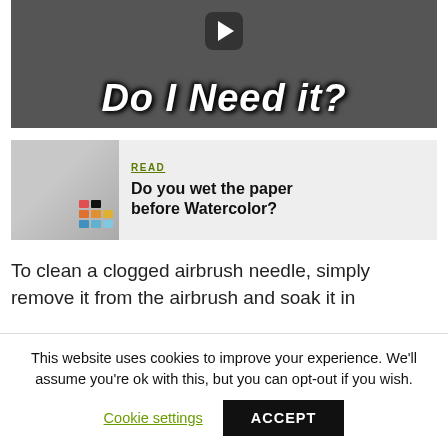[Figure (screenshot): Video thumbnail with dark background showing mechanical parts and bold italic white text 'Do I Need it?' with a play button icon at top center]
[Figure (screenshot): Article preview card with watercolor swatches image on left and READ label with title 'Do you wet the paper before Watercolor?' on right]
To clean a clogged airbrush needle, simply remove it from the airbrush and soak it in
This website uses cookies to improve your experience. We'll assume you're ok with this, but you can opt-out if you wish.
Cookie settings
ACCEPT